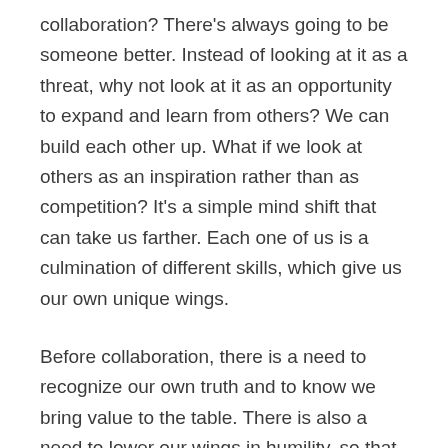collaboration? There's always going to be someone better. Instead of looking at it as a threat, why not look at it as an opportunity to expand and learn from others? We can build each other up. What if we look at others as an inspiration rather than as competition? It's a simple mind shift that can take us farther. Each one of us is a culmination of different skills, which give us our own unique wings.
Before collaboration, there is a need to recognize our own truth and to know we bring value to the table. There is also a need to lower our wings in humility, so that we may learn from others. While unhealthy competition can stunt our personal growth, collaboration creates many opportunities to thrive.
Has your competitive side ever reared its ugly head? How can you use collaboration to flip your thinking and benefit